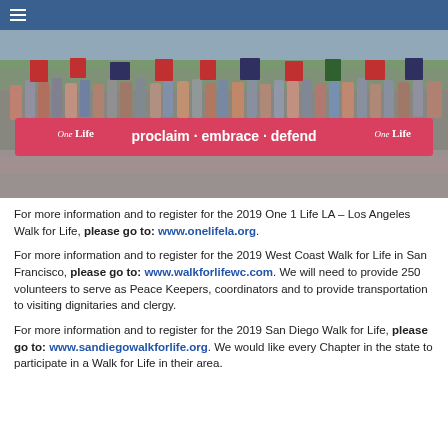≡
[Figure (photo): Large crowd of marchers holding signs and a prominent red banner reading 'proclaim · embrace · defend' with 'One Life' logos on each end, marching down a street.]
For more information and to register for the 2019 One 1 Life LA – Los Angeles Walk for Life, please go to: www.onelifela.org.
For more information and to register for the 2019 West Coast Walk for Life in San Francisco, please go to: www.walkforlifewc.com. We will need to provide 250 volunteers to serve as Peace Keepers, coordinators and to provide transportation to visiting dignitaries and clergy.
For more information and to register for the 2019 San Diego Walk for Life, please go to: www.sandiegowalkforlife.org. We would like every Chapter in the state to participate in a Walk for Life in their area.